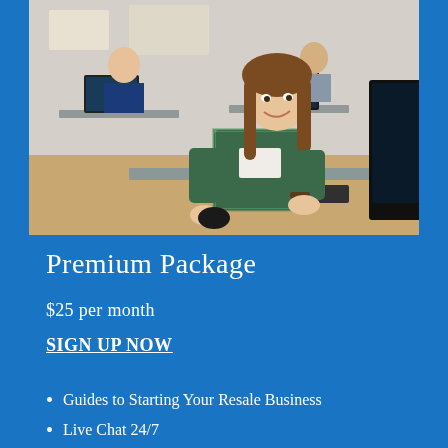[Figure (photo): Students in a computer lab classroom; a smiling young woman in a plaid shirt works at a desktop computer in the foreground, with other students at computers visible in the background.]
Premium Package
$25 per month
SIGN UP NOW
Guides to Starting Your Resale Business
Live Chat 24/7